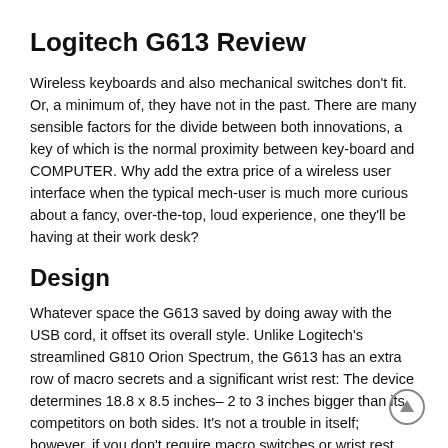Logitech G613 Review
Wireless keyboards and also mechanical switches don't fit. Or, a minimum of, they have not in the past. There are many sensible factors for the divide between both innovations, a key of which is the normal proximity between key-board and COMPUTER. Why add the extra price of a wireless user interface when the typical mech-user is much more curious about a fancy, over-the-top, loud experience, one they'll be having at their work desk?
Design
Whatever space the G613 saved by doing away with the USB cord, it offset its overall style. Unlike Logitech's streamlined G810 Orion Spectrum, the G613 has an extra row of macro secrets and a significant wrist rest: The device determines 18.8 x 8.5 inches– 2 to 3 inches bigger than its competitors on both sides. It's not a trouble in itself; however, if you don't require macro switches or wrist rest, those are the aggravations you'll need to endure to